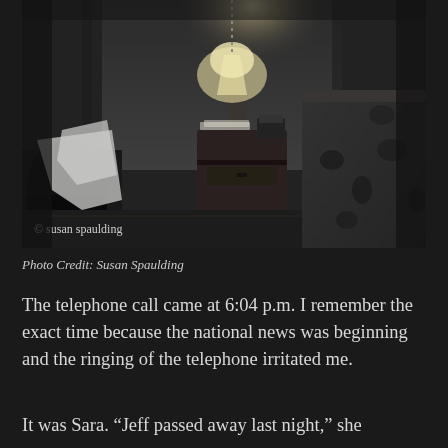[Figure (photo): Black and white photograph of a dimly lit hotel or bedroom at night. A rumpled white shirt or clothing is draped over a chair or bag on the left side. A bedside nightstand holds a lit lamp, some papers, and a telephone. The right side shows the edge of a bed with a patterned bedspread. The overall mood is dark and somber.]
© susan spaulding
Photo Credit: Susan Spaulding
The telephone call came at 6:04 p.m. I remember the exact time because the national news was beginning and the ringing of the telephone irritated me.
It was Sara. “Jeff passed away last night,” she